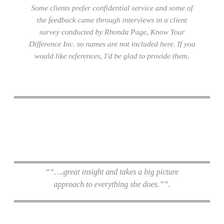Some clients prefer confidential service and some of the feedback came through interviews in a client survey conducted by Rhonda Page, Know Your Difference Inc. so names are not included here. If you would like references, I'd be glad to provide them.
""….great insight and takes a big picture approach to everything she does."".